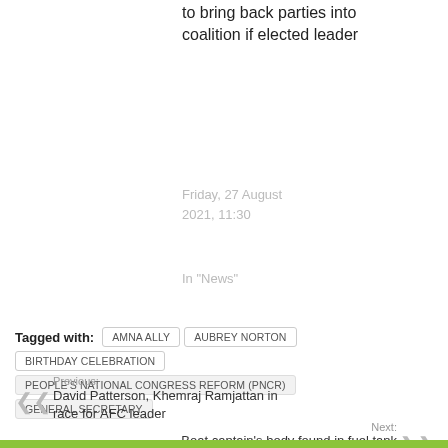to bring back parties into coalition if elected leader
Friday, 27 August 2021, 11:30
In "News"
Tagged with: AMNA ALLY  AUBREY NORTON  BIRTHDAY CELEBRATION  PEOPLE'S NATIONAL CONGRESS REFORM (PNCR)  GENERAL SECRETARY
Previous: David Patterson, Khemraj Ramjattan in race for AFC leader
Next: Boat captain's body found in fuel tank